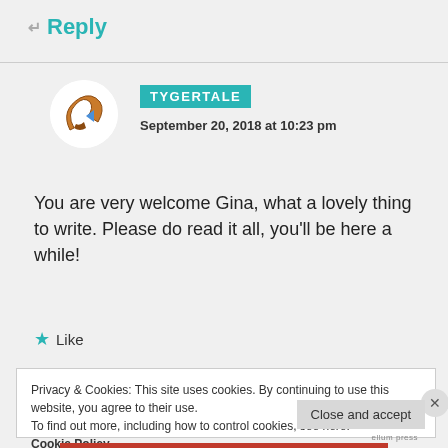↵ Reply
TYGERTALE
September 20, 2018 at 10:23 pm
You are very welcome Gina, what a lovely thing to write. Please do read it all, you'll be here a while!
★ Like
Privacy & Cookies: This site uses cookies. By continuing to use this website, you agree to their use.
To find out more, including how to control cookies, see here:
Cookie Policy
Close and accept